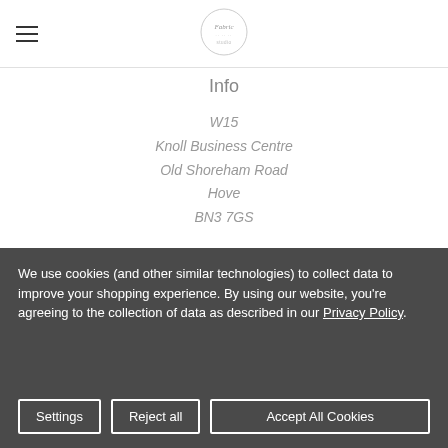Navigation bar with hamburger menu and circular logo
Info
W15
Knoll Business Centre
Old Shoreham Road
Hove
BN3 7GS
Subscribe to our newsletter
Get the latest updates on new products and upcoming sales
We use cookies (and other similar technologies) to collect data to improve your shopping experience. By using our website, you're agreeing to the collection of data as described in our Privacy Policy.
Settings | Reject all | Accept All Cookies